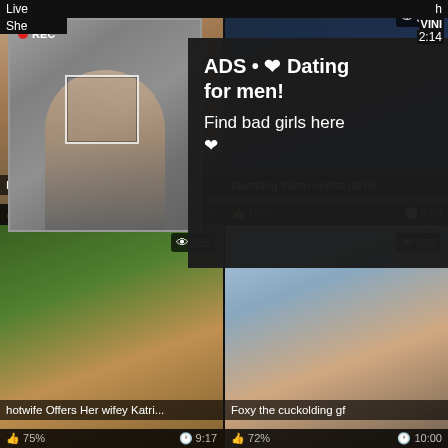[Figure (screenshot): Video thumbnail grid with overlay ad. Top-left: webcam-style selfie photo with REC badge. Ad overlay: 'ADS • ❤ Dating for men! Find bad girls here ❤'. Four video thumbnails below: 'Lily Rader enjoys Her hubby T...' 86% 12:39, 'plumbing tramp opens up he...' 76% 5:54, 'hotwife Offers Her wifey Katri...' 75% 9:17, 'Foxy the cuckolding gf' 72% 10:00]